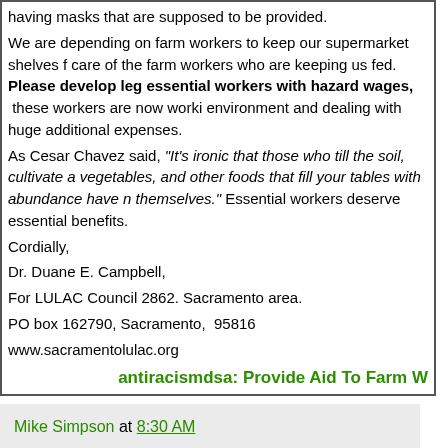having masks that are supposed to be provided. We are depending on farm workers to keep our supermarket shelves full. We should take care of the farm workers who are keeping us fed. Please develop legislation to provide essential workers with hazard wages, these workers are now working in a much more dangerous environment and dealing with huge additional expenses. As Cesar Chavez said, "It's ironic that those who till the soil, cultivate and harvest the fruits, vegetables, and other foods that fill your tables with abundance have nothing left for themselves." Essential workers deserve essential benefits. Cordially, Dr. Duane E. Campbell, For LULAC Council 2862. Sacramento area. PO box 162790, Sacramento, 95816 www.sacramentolulac.org
antiracismdsa: Provide Aid To Farm W...
Mike Simpson at 8:30 AM
Share